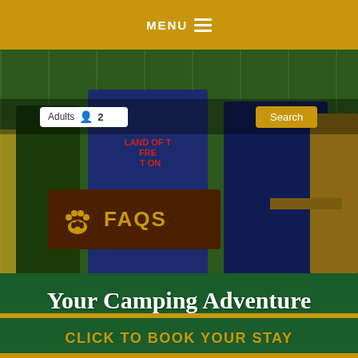MENU
[Figure (screenshot): Camping website screenshot showing children in camp t-shirts seated at wooden benches, with a search bar overlay (Adults 2 field and Search button), and a dark brown FAQS badge with gold paw print and gold text 'FAQS' overlaid on the photo.]
Your Camping Adventure Starts Here
CLICK TO BOOK YOUR STAY